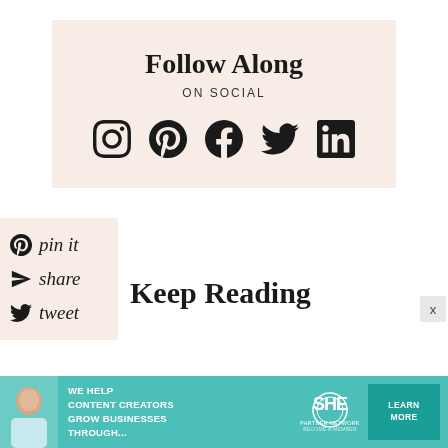Follow Along ON SOCIAL
[Figure (infographic): Social media icons: Instagram, Pinterest, Facebook, Twitter, LinkedIn]
[Figure (infographic): Side share panel with Pinterest pin it, share, and Twitter tweet buttons in cursive script on peach background]
Keep Reading
[Figure (infographic): Advertisement banner: WE HELP CONTENT CREATORS GROW BUSINESSES THROUGH... SHE PARTNER NETWORK BECOME A MEMBER. LEARN MORE button.]